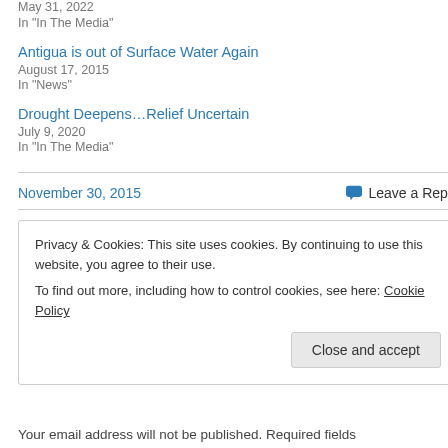May 31, 2022
In "In The Media"
Antigua is out of Surface Water Again
August 17, 2015
In "News"
Drought Deepens…Relief Uncertain
July 9, 2020
In "In The Media"
November 30, 2015
Leave a Reply
Privacy & Cookies: This site uses cookies. By continuing to use this website, you agree to their use.
To find out more, including how to control cookies, see here: Cookie Policy
Close and accept
Your email address will not be published. Required fields